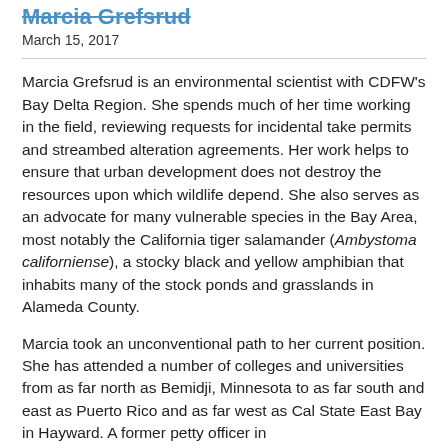Marcia Grefsrud
March 15, 2017
Marcia Grefsrud is an environmental scientist with CDFW's Bay Delta Region. She spends much of her time working in the field, reviewing requests for incidental take permits and streambed alteration agreements. Her work helps to ensure that urban development does not destroy the resources upon which wildlife depend. She also serves as an advocate for many vulnerable species in the Bay Area, most notably the California tiger salamander (Ambystoma californiense), a stocky black and yellow amphibian that inhabits many of the stock ponds and grasslands in Alameda County.
Marcia took an unconventional path to her current position. She has attended a number of colleges and universities from as far north as Bemidji, Minnesota to as far south and east as Puerto Rico and as far west as Cal State East Bay in Hayward. A former petty officer in